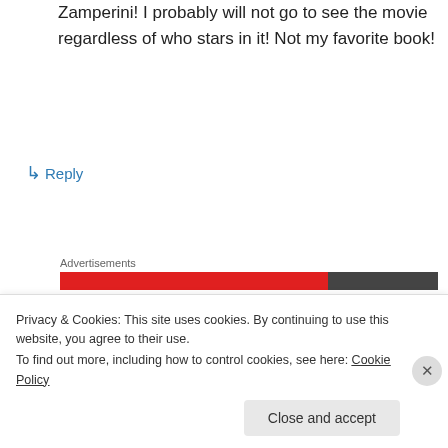Zamperini! I probably will not go to see the movie regardless of who stars in it! Not my favorite book!
↳ Reply
Advertisements
jennysserendipity on August 23, 2012 at 2:02 pm
Love him
Privacy & Cookies: This site uses cookies. By continuing to use this website, you agree to their use.
To find out more, including how to control cookies, see here: Cookie Policy
Close and accept